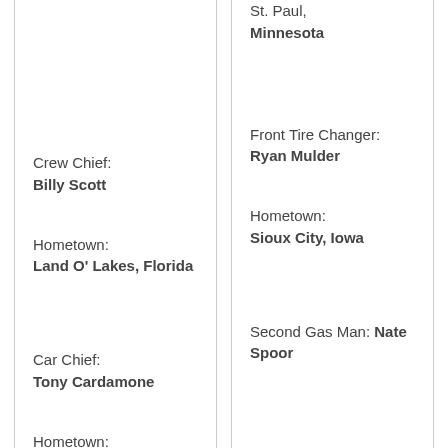St. Paul, Minnesota
Crew Chief: Billy Scott
Hometown: Land O' Lakes, Florida
Front Tire Changer: Ryan Mulder
Hometown: Sioux City, Iowa
Car Chief: Tony Cardamone
Hometown: Bristol,
Second Gas Man: Nate Spoor